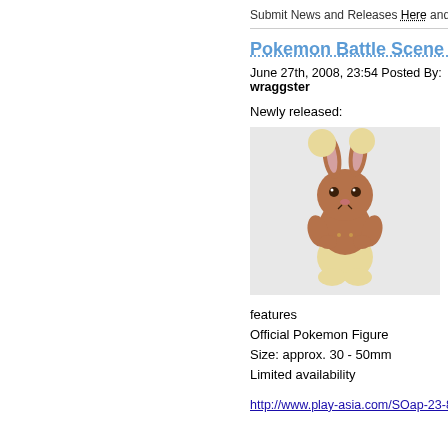Submit News and Releases Here and Contact
Pokemon Battle Scene No…
June 27th, 2008, 23:54 Posted By: wraggster
Newly released:
[Figure (photo): A Buneary Pokemon figure — a small brown and cream rabbit-like creature toy, approximately 30-50mm in size.]
features
Official Pokemon Figure
Size: approx. 30 - 50mm
Limited availability
http://www.play-asia.com/SOap-23-83-…j-70-2